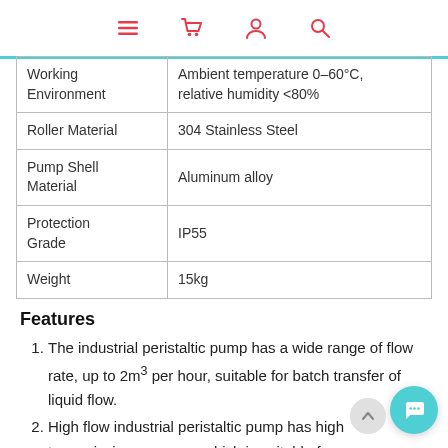[navigation icons: menu, cart, user, search]
| Property | Value |
| --- | --- |
| Working Environment | Ambient temperature 0–60°C, relative humidity <80% |
| Roller Material | 304 Stainless Steel |
| Pump Shell Material | Aluminum alloy |
| Protection Grade | IP55 |
| Weight | 15kg |
Features
The industrial peristaltic pump has a wide range of flow rate, up to 2m³ per hour, suitable for batch transfer of liquid flow.
High flow industrial peristaltic pump has high transmission pressure, which is suitable for